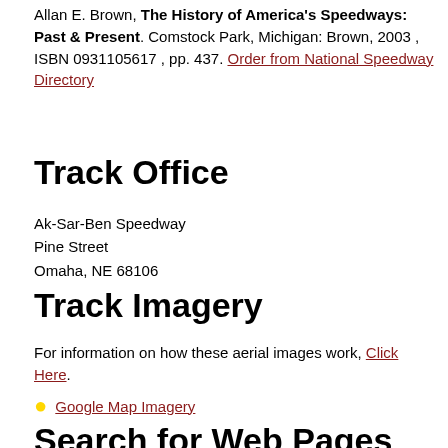Allan E. Brown, The History of America's Speedways: Past & Present. Comstock Park, Michigan: Brown, 2003 , ISBN 0931105617 , pp. 437. Order from National Speedway Directory
Track Office
Ak-Sar-Ben Speedway
Pine Street
Omaha, NE 68106
Track Imagery
For information on how these aerial images work, Click Here.
Google Map Imagery
Search for Web Pages